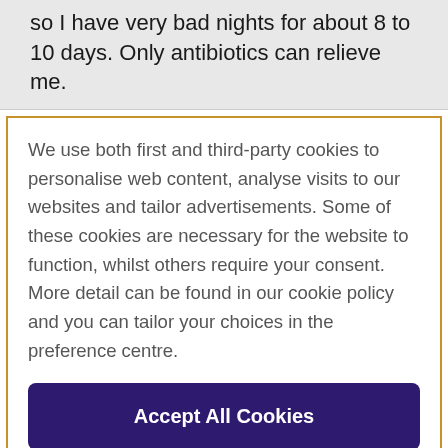so I have very bad nights for about 8 to 10 days. Only antibiotics can relieve me.
We use both first and third-party cookies to personalise web content, analyse visits to our websites and tailor advertisements. Some of these cookies are necessary for the website to function, whilst others require your consent. More detail can be found in our cookie policy and you can tailor your choices in the preference centre.
Accept All Cookies
Cookies Settings